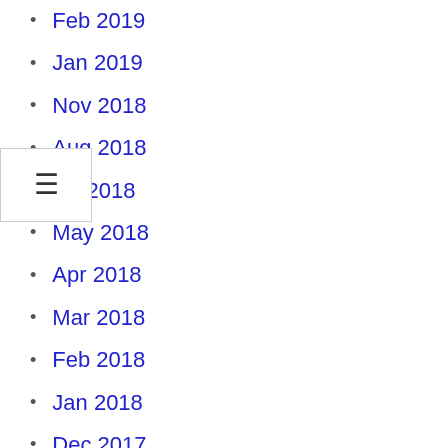Feb 2019
Jan 2019
Nov 2018
Aug 2018
Jul 2018
May 2018
Apr 2018
Mar 2018
Feb 2018
Jan 2018
Dec 2017
Nov 2017
May 2017
Apr 2017
Mar 2017
Feb 2017
Dec 2016
Nov 2016